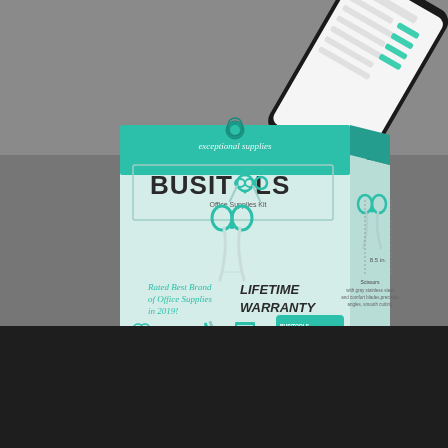[Figure (photo): Product photo showing a BUSITOOLS Office Supplies Kit box packaging with teal/mint color scheme. The box displays scissors icon integrated into the logo letters, text 'Rated Best Brand of Office Supplies in 2019!' and 'LIFETIME WARRANTY', icons of office supplies at the bottom, and text 'exceptional supplies' on the teal top flap. A smartphone showing a green-highlighted list is visible in the upper right corner, partially cut off.]